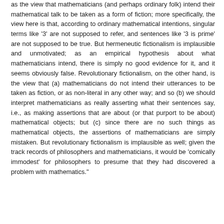as the view that mathematicians (and perhaps ordinary folk) intend their mathematical talk to be taken as a form of fiction; more specifically, the view here is that, according to ordinary mathematical intentions, singular terms like '3' are not supposed to refer, and sentences like '3 is prime' are not supposed to be true. But hermeneutic fictionalism is implausible and unmotivated; as an empirical hypothesis about what mathematicians intend, there is simply no good evidence for it, and it seems obviously false. Revolutionary fictionalism, on the other hand, is the view that (a) mathematicians do not intend their utterances to be taken as fiction, or as non-literal in any other way; and so (b) we should interpret mathematicians as really asserting what their sentences say, i.e., as making assertions that are about (or that purport to be about) mathematical objects; but (c) since there are no such things as mathematical objects, the assertions of mathematicians are simply mistaken. But revolutionary fictionalism is implausible as well; given the track records of philosophers and mathematicians, it would be 'comically immodest' for philosophers to presume that they had discovered a problem with mathematics."